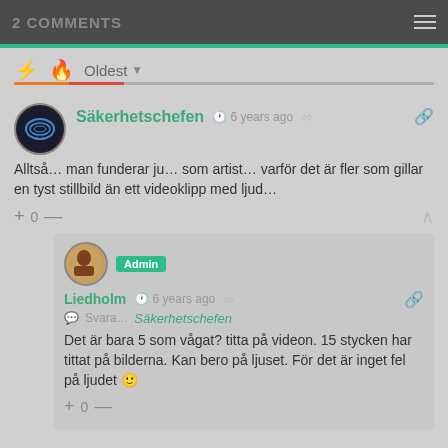2 COMMENTS
Oldest
Säkerhetschefen · 6 years ago
Alltså… man funderar ju… som artist… varför det är fler som gillar en tyst stillbild än ett videoklipp med ljud…
0
Liedholm · Admin · 6 years ago
Svara… Säkerhetschefen
Det är bara 5 som vågat? titta på videon. 15 stycken har tittat på bilderna. Kan bero på ljuset. För det är inget fel på ljudet 🙂
0